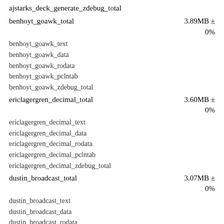ajstarks_deck_generate_zdebug_total
benhoyt_goawk_total	3.89MB ± 0%
benhoyt_goawk_text
benhoyt_goawk_data
benhoyt_goawk_rodata
benhoyt_goawk_pclntab
benhoyt_goawk_zdebug_total
ericlagergren_decimal_total	3.60MB ± 0%
ericlagergren_decimal_text
ericlagergren_decimal_data
ericlagergren_decimal_rodata
ericlagergren_decimal_pclntab
ericlagergren_decimal_zdebug_total
dustin_broadcast_total	3.07MB ± 0%
dustin_broadcast_text
dustin_broadcast_data
dustin_broadcast_rodata
dustin_broadcast_pclntab
dustin_broadcast_zdebug_total
dustin_humanize_total	3.60MB ± 0%